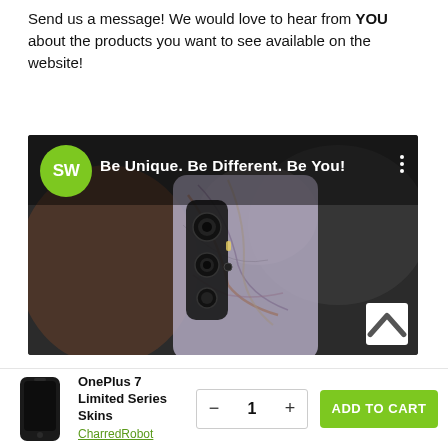Send us a message! We would love to hear from YOU about the products you want to see available on the website!
[Figure (screenshot): Video thumbnail with SW green logo, text 'Be Unique. Be Different. Be You!' and a blurred photo of a person holding a phone with a marble-pattern skin]
[Figure (photo): Small product thumbnail of OnePlus 7 phone with dark skin]
OnePlus 7 Limited Series Skins
CharredRobot
- 1 +
ADD TO CART